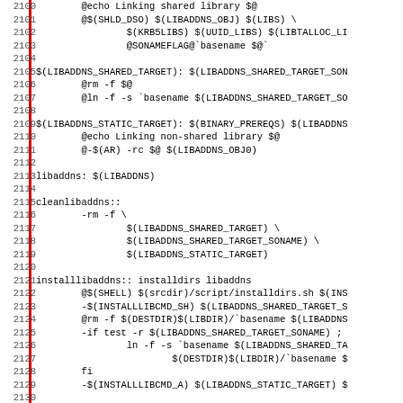[Figure (screenshot): Source code listing (Makefile) showing lines 2100-2131 with line numbers on the left, a red vertical bar separator, and monospace code text including Makefile targets for libaddns: linking shared/static libraries, cleanlibaddns, installlibaddns, and uninstalllibaddns.]